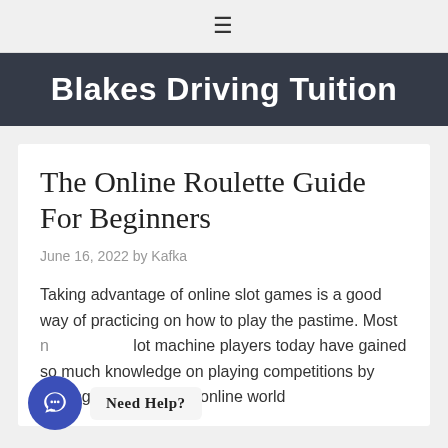≡
Blakes Driving Tuition
The Online Roulette Guide For Beginners
June 16, 2022 by Kafka
Taking advantage of online slot games is a good way of practicing on how to play the pastime. Most online slot machine players today have gained so much knowledge on playing competitions by playing it first over the online world